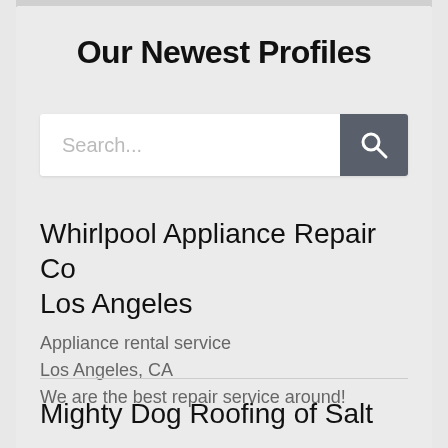Our Newest Profiles
[Figure (screenshot): Search bar with text placeholder 'Search...' and a dark grey search button with magnifying glass icon]
Whirlpool Appliance Repair Co Los Angeles
Appliance rental service
Los Angeles, CA
We are the best repair service around!
Mighty Dog Roofing of Salt